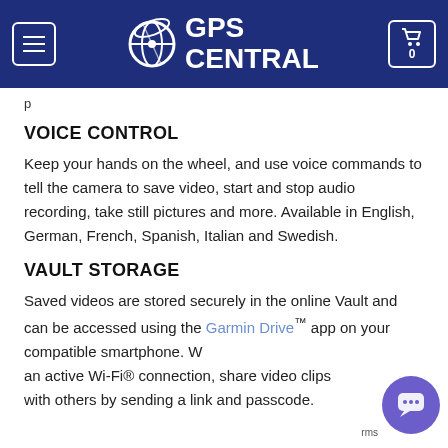GPS CENTRAL
p
VOICE CONTROL
Keep your hands on the wheel, and use voice commands to tell the camera to save video, start and stop audio recording, take still pictures and more. Available in English, German, French, Spanish, Italian and Swedish.
VAULT STORAGE
Saved videos are stored securely in the online Vault and can be accessed using the Garmin Drive™ app on your compatible smartphone. With an active Wi-Fi® connection, share video clips with others by sending a link and passcode.